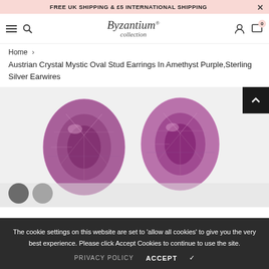FREE UK SHIPPING & £5 INTERNATIONAL SHIPPING
[Figure (logo): Byzantium Collection cursive logo]
Home > Austrian Crystal Mystic Oval Stud Earrings In Amethyst Purple,Sterling Silver Earwires
[Figure (photo): Two amethyst purple faceted oval crystal earrings on white/grey background]
The cookie settings on this website are set to 'allow all cookies' to give you the very best experience. Please click Accept Cookies to continue to use the site.